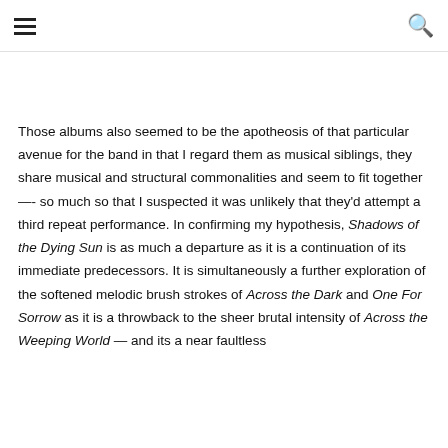☰  🔍
Those albums also seemed to be the apotheosis of that particular avenue for the band in that I regard them as musical siblings, they share musical and structural commonalities and seem to fit together —- so much so that I suspected it was unlikely that they'd attempt a third repeat performance. In confirming my hypothesis, Shadows of the Dying Sun is as much a departure as it is a continuation of its immediate predecessors. It is simultaneously a further exploration of the softened melodic brush strokes of Across the Dark and One For Sorrow as it is a throwback to the sheer brutal intensity of Across the Weeping World — and its a near faultless